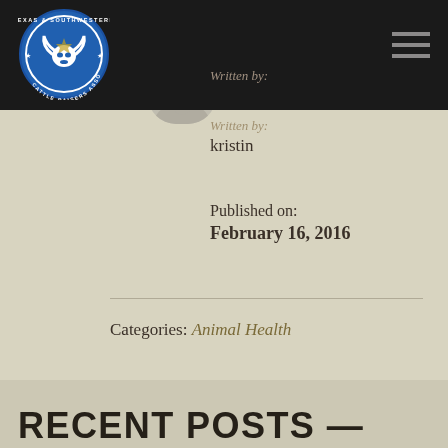Texas & Southwestern Cattle Raisers Association
Written by: kristin
Published on: February 16, 2016
Categories: Animal Health
RECENT POSTS —